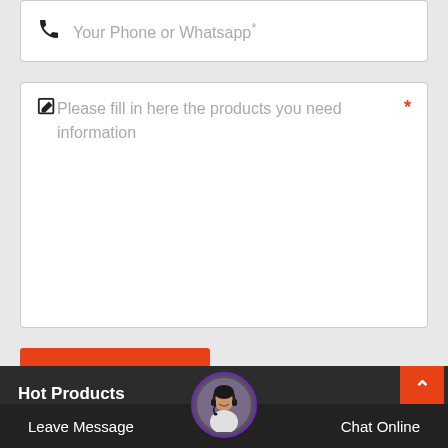[Figure (screenshot): Phone or Whatsapp input field with phone icon and placeholder text]
[Figure (screenshot): Textarea input field with edit icon, placeholder text 'Please fill in here the products you need information', and red asterisk required marker]
[Figure (screenshot): Orange 'Send Now!' button]
Hot Products
[Figure (screenshot): Orange scroll-to-top arrow button in top-right of dark footer bar]
Leave Message
[Figure (photo): Customer service representative avatar with headset in circular frame with purple border]
Chat Online